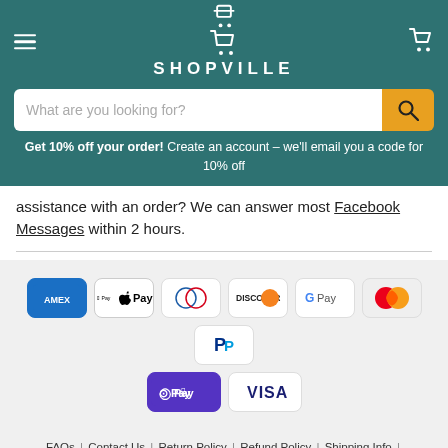SHOPVILLE
What are you looking for?
Get 10% off your order! Create an account – we'll email you a code for 10% off
assistance with an order? We can answer most Facebook Messages within 2 hours.
[Figure (infographic): Payment method logos: American Express, Apple Pay, Diners Club, Discover, Google Pay, Mastercard, PayPal, Shop Pay, Visa]
FAQs | Contact Us | Return Policy | Refund Policy | Shipping Info | Billing & Payments | Region Compatibility | Disclaimer